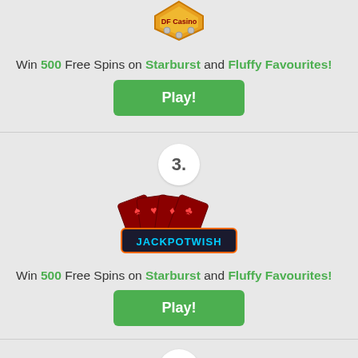[Figure (logo): Casino logo partially visible at top of page]
Win 500 Free Spins on Starburst and Fluffy Favourites!
[Figure (other): Green Play! button]
[Figure (other): Number badge showing '3.']
[Figure (logo): Jackpot Wish casino logo with playing cards]
Win 500 Free Spins on Starburst and Fluffy Favourites!
[Figure (other): Green Play! button]
[Figure (other): Number badge showing '4.']
[Figure (logo): Pretty Slots casino logo]